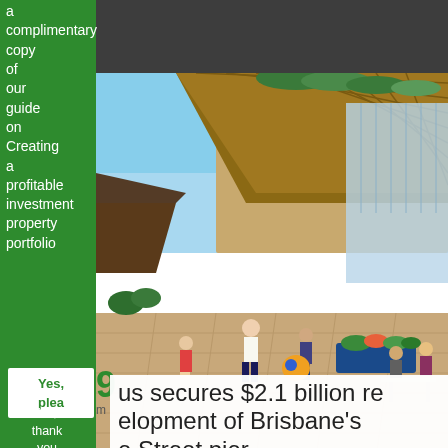a complimentary copy of our guide on Creating a profitable investment property portfolio
[Figure (photo): Architectural rendering of a waterfront development with people walking along a boardwalk, green roof structures, and outdoor dining areas — Brisbane's Howard Street pier redevelopment concept.]
Yes, please
No, thank you
...us secures $2.1 billion re...elopment of Brisbane's...e Street pier